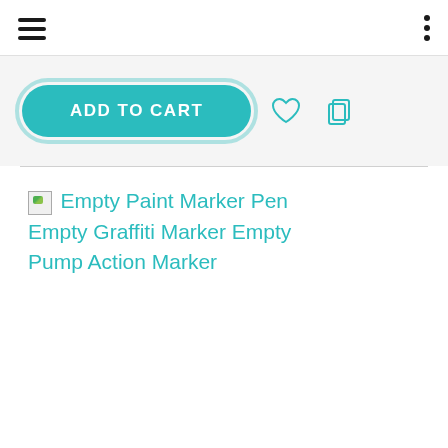[Figure (screenshot): Mobile app navigation bar with hamburger menu icon on left and three-dot menu on right]
[Figure (screenshot): Add to Cart button in teal/cyan color with heart and copy icons to the right]
[Figure (screenshot): Broken image icon followed by product title link: Empty Paint Marker Pen Empty Graffiti Marker Empty Pump Action Marker]